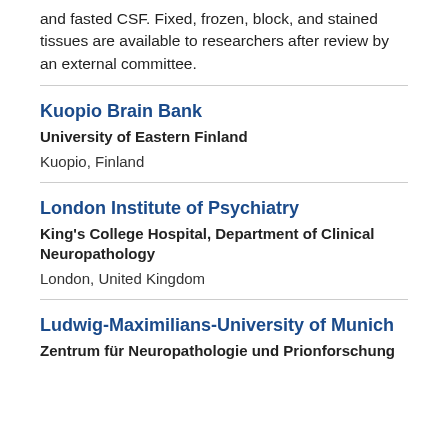and fasted CSF. Fixed, frozen, block, and stained tissues are available to researchers after review by an external committee.
Kuopio Brain Bank
University of Eastern Finland
Kuopio, Finland
London Institute of Psychiatry
King's College Hospital, Department of Clinical Neuropathology
London, United Kingdom
Ludwig-Maximilians-University of Munich
Zentrum für Neuropathologie und Prionforschung